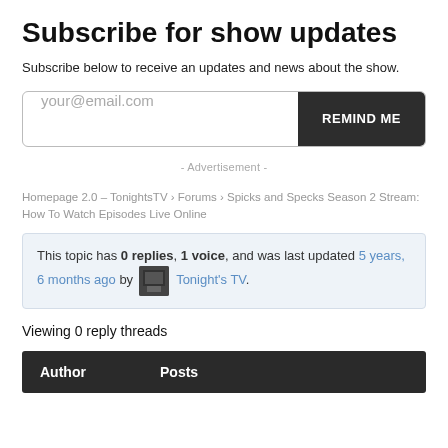Subscribe for show updates
Subscribe below to receive an updates and news about the show.
[Figure (screenshot): Email subscription input field with placeholder text 'your@email.com' and a dark 'REMIND ME' button]
- Advertisement -
Homepage 2.0 – TonightsTV › Forums › Spicks and Specks Season 2 Stream: How To Watch Episodes Live Online
This topic has 0 replies, 1 voice, and was last updated 5 years, 6 months ago by Tonight's TV.
Viewing 0 reply threads
| Author | Posts |
| --- | --- |